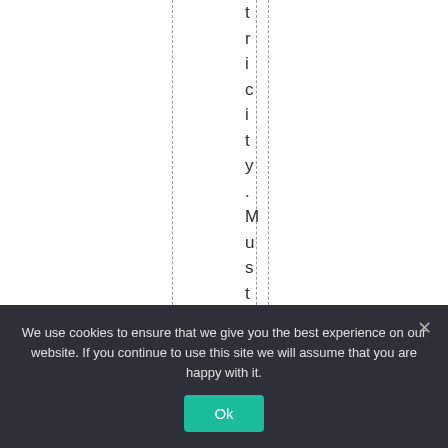tricity.Mustbacoi
We use cookies to ensure that we give you the best experience on our website. If you continue to use this site we will assume that you are happy with it.